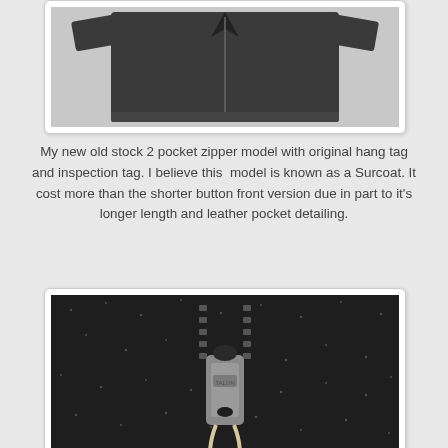[Figure (photo): Dark gray jacket/surcoat garment laid flat, showing zipper front and sleeves, photographed on white background]
My new old stock 2 pocket zipper model with original hang tag and inspection tag. I believe this model is known as a Surcoat. It cost more than the shorter button front version due in part to it's longer length and leather pocket detailing.
[Figure (photo): Close-up macro photograph of a heavy duty Talon zipper pull on dark woven fabric with white flecks]
Heavy Duty Talon zipper
[Figure (photo): Close-up detail of dark woven fabric showing zipper or garment detail, partially cropped at bottom of page]